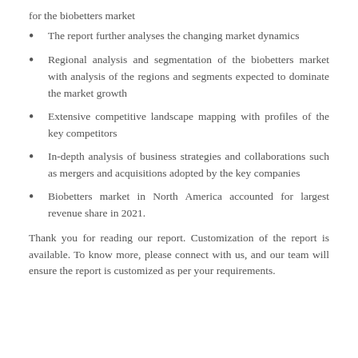for the biobetters market
The report further analyses the changing market dynamics
Regional analysis and segmentation of the biobetters market with analysis of the regions and segments expected to dominate the market growth
Extensive competitive landscape mapping with profiles of the key competitors
In-depth analysis of business strategies and collaborations such as mergers and acquisitions adopted by the key companies
Biobetters market in North America accounted for largest revenue share in 2021.
Thank you for reading our report. Customization of the report is available. To know more, please connect with us, and our team will ensure the report is customized as per your requirements.